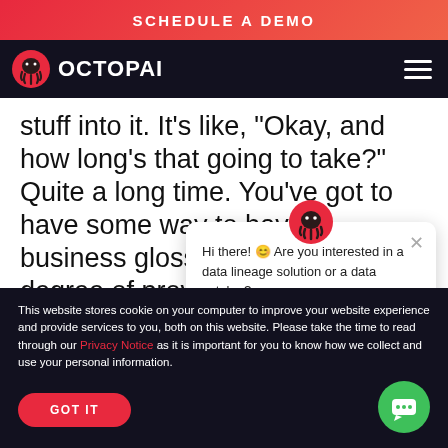SCHEDULE A DEMO
[Figure (logo): Octopai logo with octopus icon and text OCTOPAI on dark navy background, with hamburger menu icon on right]
stuff into it. It’s like, “Okay, and how long’s that going to take?” Quite a long time. You’ve got to have some way to have a business glossary with some degree of provisioning of it, maybe it’s automated so that it gets up to a critical mass whe…
Hi there! 😊 Are you interested in a data lineage solution or a data catalog?
This website stores cookie on your computer to improve your website experience and provide services to you, both on this website. Please take the time to read through our Privacy Notice as it is important for you to know how we collect and use your personal information.
GOT IT